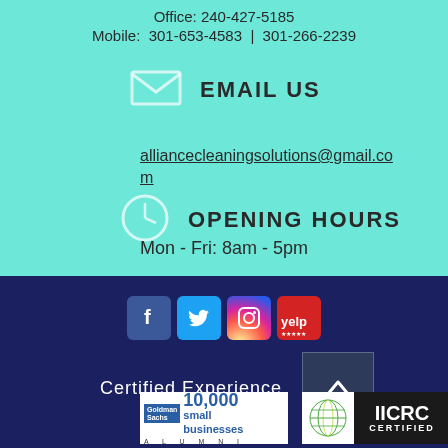Office: 240-427-5185
Mobile: 301-653-4583 | 301-266-2239
EMAIL US
alliancecleaningsolutions@gmail.com
OPENING HOURS
Mon - Fri: 8am - 5pm
[Figure (infographic): Social media icons: Facebook, Twitter, Instagram, Yelp]
Certified Experience
[Figure (logo): Goldman Sachs 10,000 Small Businesses Alumni badge]
[Figure (logo): IICRC Certified badge with globe logo]